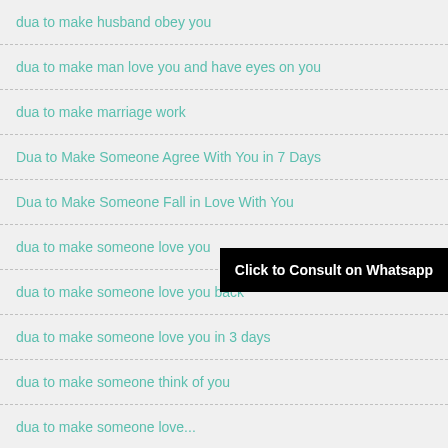dua to make husband obey you
dua to make man love you and have eyes on you
dua to make marriage work
Dua to Make Someone Agree With You in 7 Days
Dua to Make Someone Fall in Love With You
dua to make someone love you
dua to make someone love you back
dua to make someone love you in 3 days
dua to make someone think of you
dua to make someone love...